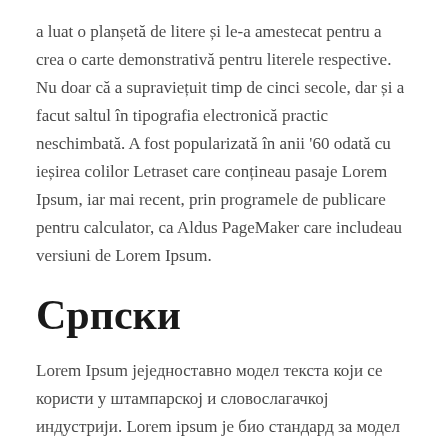a luat o planșetă de litere și le-a amestecat pentru a crea o carte demonstrativă pentru literele respective. Nu doar că a supraviețuit timp de cinci secole, dar și a facut saltul în tipografia electronică practic neschimbată. A fost popularizată în anii '60 odată cu ieșirea colilor Letraset care conțineau pasaje Lorem Ipsum, iar mai recent, prin programele de publicare pentru calculator, ca Aldus PageMaker care includeau versiuni de Lorem Ipsum.
Српски
Lorem Ipsum јеједноставно модел текста који се користи у штампарској и словослагачкој индустрији. Lorem ipsum је био стандард за модел текста још од 1500. године, када је непознати штампар узео кутију са словима и сложио их како би направио узорак штампе. Не само што је преживео стотинама